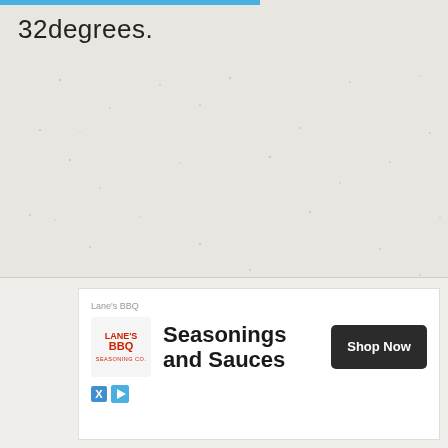32degrees.
The lower side of this fridge can be reversed, and it
[Figure (other): Advertisement for Lane's BBQ featuring the Lane's BBQ logo, text 'Seasonings and Sauces', and a 'Shop Now' button]